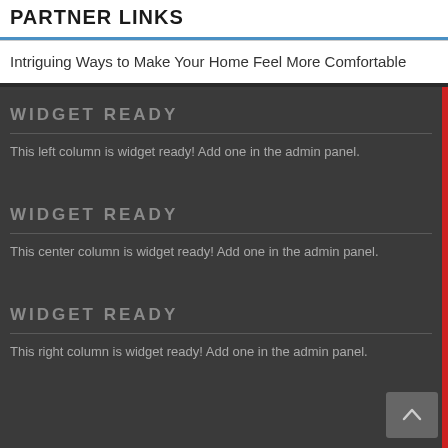PARTNER LINKS
Intriguing Ways to Make Your Home Feel More Comfortable
WIDGET READY
This left column is widget ready! Add one in the admin panel.
WIDGET READY
This center column is widget ready! Add one in the admin panel.
WIDGET READY
This right column is widget ready! Add one in the admin panel.